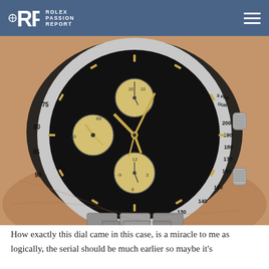RPR ROLEX PASSION REPORT
[Figure (photo): Close-up photo of a Rolex Daytona chronograph watch being worn on a wrist. The watch features a black dial with three yellow/champagne-colored subdials, a tachymeter bezel with markings (75, 80, 85, 90 on left; 200, 190, 180, 170, 160, 150, 140, 130 on right), yellow gold hands, and a stainless steel bracelet.]
How exactly this dial came in this case, is a miracle to me as logically, the serial should be much earlier so maybe it's